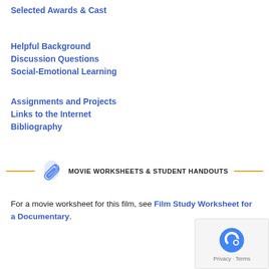Selected Awards & Cast
Helpful Background
Discussion Questions
Social-Emotional Learning
Assignments and Projects
Links to the Internet
Bibliography
MOVIE WORKSHEETS & STUDENT HANDOUTS
For a movie worksheet for this film, see Film Study Worksheet for a Documentary.